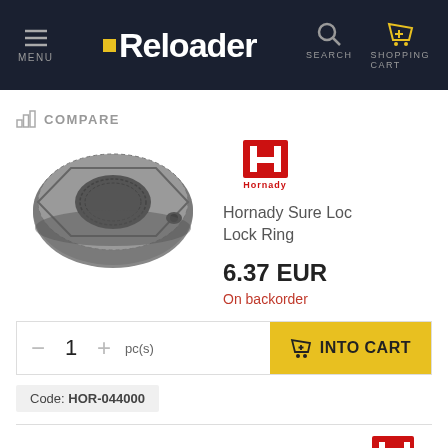MENU | Reloader | SEARCH | SHOPPING CART
COMPARE
[Figure (photo): Hornady Sure Loc Lock Ring product photo — a grey metal hexagonal threaded lock ring with knurled edges and a small set screw]
[Figure (logo): Hornady logo — red H with Hornady text below]
Hornady Sure Loc Lock Ring
6.37 EUR
On backorder
1
pc(s)
INTO CART
Code: HOR-044000
COMPARE
[Figure (logo): Hornady logo — red H with Hornady text below (second product)]